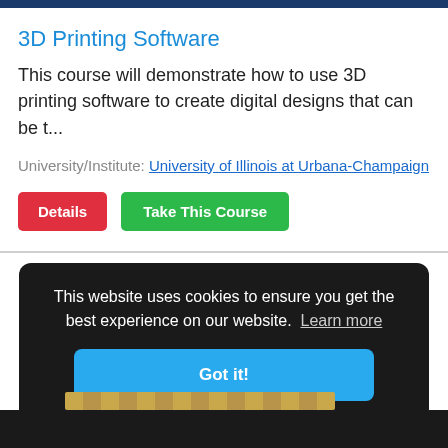[Figure (screenshot): Dark blue top navigation bar (partial, cropped at top)]
3D Printing Software
This course will demonstrate how to use 3D printing software to create digital designs that can be t...
University/Institute: University of Illinois at Urbana-Champaign
Details  Take This Course
This website uses cookies to ensure you get the best experience on our website.  Learn more
Got it!